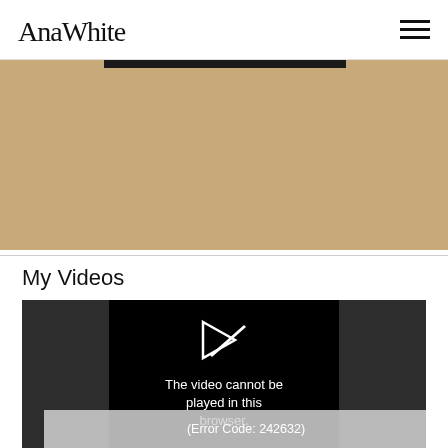AnaWhite
[Figure (photo): Partial photo of furniture bottom against tan/beige carpet, with dark metal rail or crossbar visible at top]
My Videos
[Figure (screenshot): Video player showing error: 'The video cannot be played in this browser. (Error Code: 242632)']